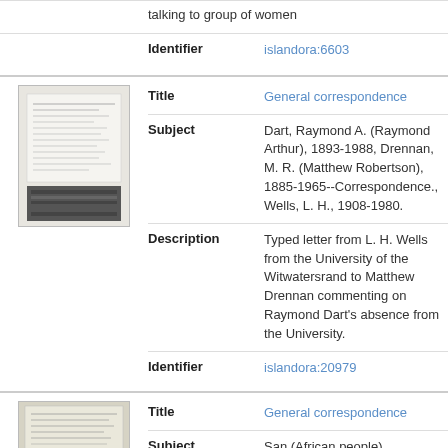talking to group of women
Identifier
islandora:6603
[Figure (photo): Thumbnail image of a typed document with text and a dark barcode/stamp area at the bottom]
Title
General correspondence
Subject
Dart, Raymond A. (Raymond Arthur), 1893-1988, Drennan, M. R. (Matthew Robertson), 1885-1965--Correspondence., Wells, L. H., 1908-1980.
Description
Typed letter from L. H. Wells from the University of the Witwatersrand to Matthew Drennan commenting on Raymond Dart's absence from the University.
Identifier
islandora:20979
[Figure (photo): Thumbnail image of a handwritten letter]
Title
General correspondence
Subject
San (African people), Drennan, M. R.